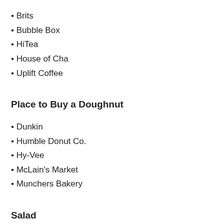Brits
Bubble Box
HiTea
House of Cha
Uplift Coffee
Place to Buy a Doughnut
Dunkin
Humble Donut Co.
Hy-Vee
McLain's Market
Munchers Bakery
Salad
23rd Street Brewery